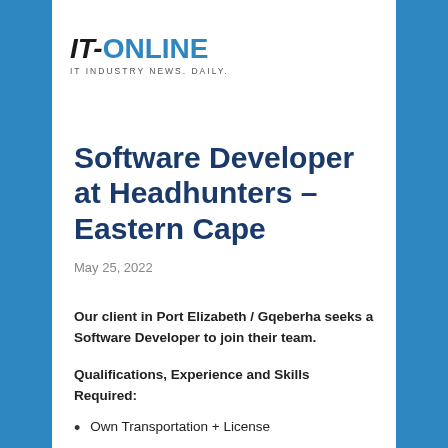IT-ONLINE IT Industry News. Daily.
Software Developer at Headhunters – Eastern Cape
May 25, 2022
Our client in Port Elizabeth / Gqeberha seeks a Software Developer to join their team.
Qualifications, Experience and Skills Required:
Own Transportation + License